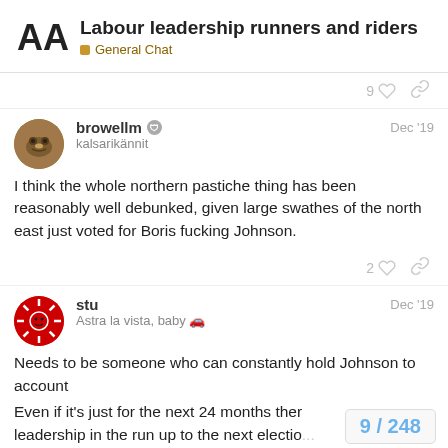Labour leadership runners and riders — General Chat
9 [heart] [link]
browellm [mod] kalsarikännit — Dec '19
I think the whole northern pastiche thing has been reasonably well debunked, given large swathes of the north east just voted for Boris fucking Johnson.
2 [heart] [link]
stu — Astra la vista, baby 🚗 — Dec '19
Needs to be someone who can constantly hold Johnson to account

Even if it's just for the next 24 months ther[...] leadership in the run up to the next electio[...]
9 / 248